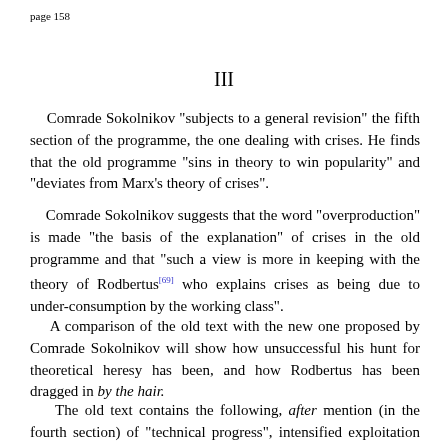page 158
III
Comrade Sokolnikov "subjects to a general revision" the fifth section of the programme, the one dealing with crises. He finds that the old programme "sins in theory to win popularity" and "deviates from Marx's theory of crises".
Comrade Sokolnikov suggests that the word "overproduction" is made "the basis of the explanation" of crises in the old programme and that "such a view is more in keeping with the theory of Rodbertus[69] who explains crises as being due to under-consumption by the working class".
A comparison of the old text with the new one proposed by Comrade Sokolnikov will show how unsuccessful his hunt for theoretical heresy has been, and how Rodbertus has been dragged in by the hair.
The old text contains the following, after mention (in the fourth section) of "technical progress", intensified exploitation of labour, and relatively lower consumption by